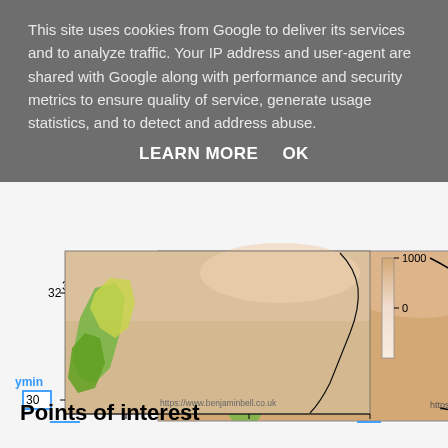This site uses cookies from Google to deliver its services and to analyze traffic. Your IP address and user-agent are shared with Google along with performance and security metrics to ensure quality of service, generate usage statistics, and to detect and address abuse.
LEARN MORE    OK
[Figure (map): A topographic/elevation map showing a region with coordinates approximately x: -8 to 0, y: 30 to 32. The map shows terrain with green areas (vegetation/low elevation) and sandy/orange areas (higher elevation). A black border line outlines a region. A color bar on the right shows values from 0 to 1000. Attribution: https://www.benjaminbell.co.uk]
Points of interest